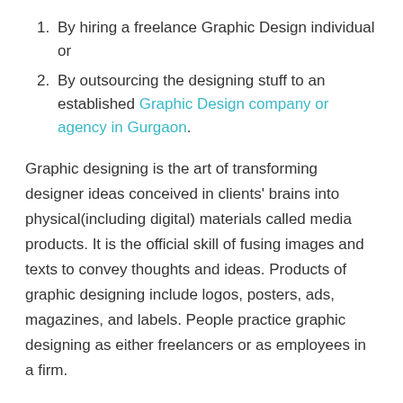By hiring a freelance Graphic Design individual or
By outsourcing the designing stuff to an established Graphic Design company or agency in Gurgaon.
Graphic designing is the art of transforming designer ideas conceived in clients’ brains into physical(including digital) materials called media products. It is the official skill of fusing images and texts to convey thoughts and ideas. Products of graphic designing include logos, posters, ads, magazines, and labels. People practice graphic designing as either freelancers or as employees in a firm.